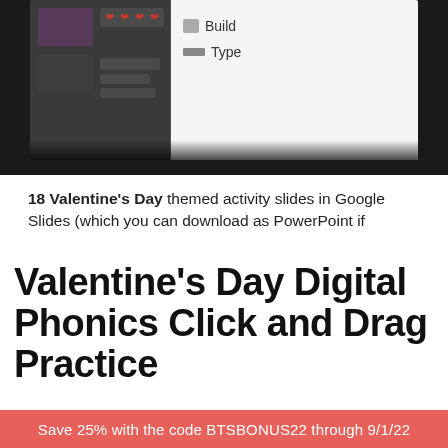[Figure (screenshot): Screenshot of a digital activity tool showing heart icons, slide thumbnails, and options for Build and Type on a dark background]
18 Valentine's Day themed activity slides in Google Slides (which you can download as PowerPoint if
Valentine's Day Digital Phonics Click and Drag Practice
Save 25% with the code BTSBONUS22 through 9/1/22